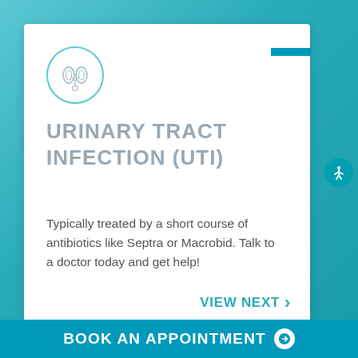[Figure (illustration): Kidney organ icon inside a teal circle outline]
URINARY TRACT INFECTION (UTI)
Typically treated by a short course of antibiotics like Septra or Macrobid. Talk to a doctor today and get help!
VIEW NEXT ›
See All Treatable Conditions
BOOK AN APPOINTMENT ➔